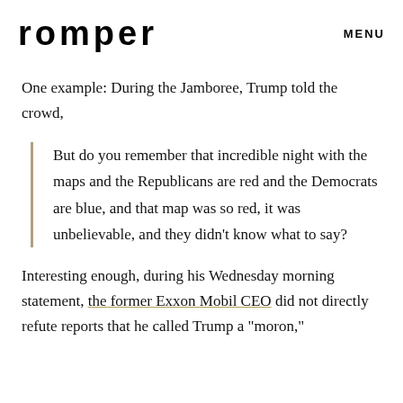romper   MENU
One example: During the Jamboree, Trump told the crowd,
But do you remember that incredible night with the maps and the Republicans are red and the Democrats are blue, and that map was so red, it was unbelievable, and they didn't know what to say?
Interesting enough, during his Wednesday morning statement, the former Exxon Mobil CEO did not directly refute reports that he called Trump a "moron,"